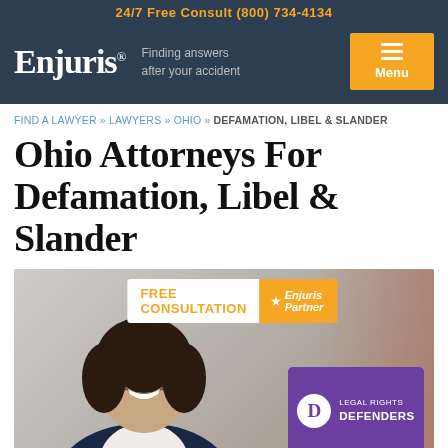24/7 Free Consult (800) 734-4134
[Figure (logo): Enjuris logo with tagline 'Finding answers after your accident' on dark background header, with orange Menu button]
FIND A LAWYER » LAWYERS » OHIO » DEFAMATION, LIBEL & SLANDER
Ohio Attorneys For Defamation, Libel & Slander
[Figure (photo): Photo of a smiling female attorney in a dark blazer, with a FREE CONSULTATION banner and Enjuris Partner badge at top, and a purple Legal Rights Defenders card overlay in the bottom right corner]